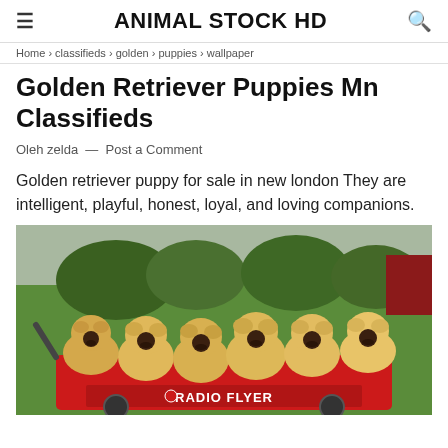ANIMAL STOCK HD
Home › classifieds › golden › puppies › wallpaper
Golden Retriever Puppies Mn Classifieds
Oleh zelda  —  Post a Comment
Golden retriever puppy for sale in new london They are intelligent, playful, honest, loyal, and loving companions.
[Figure (photo): Several golden retriever puppies sitting in a red Radio Flyer wagon on a green lawn with trees in the background.]